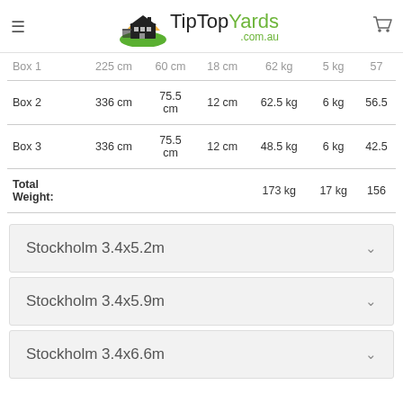TipTopYards .com.au
|  |  |  |  |  |  |  |
| --- | --- | --- | --- | --- | --- | --- |
| Box 1 | 225 cm | 60 cm | 18 cm | 62 kg | 5 kg | 57 |
| Box 2 | 336 cm | 75.5 cm | 12 cm | 62.5 kg | 6 kg | 56.5 |
| Box 3 | 336 cm | 75.5 cm | 12 cm | 48.5 kg | 6 kg | 42.5 |
| Total Weight: |  |  |  | 173 kg | 17 kg | 156 |
Stockholm 3.4x5.2m
Stockholm 3.4x5.9m
Stockholm 3.4x6.6m